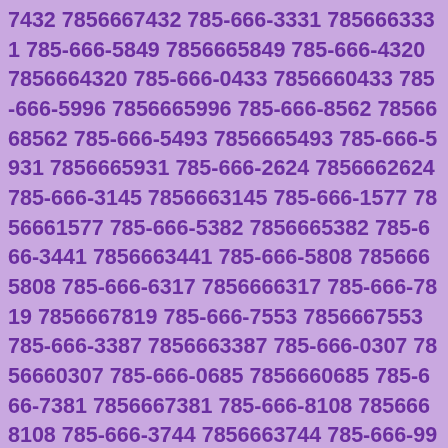7432 7856667432 785-666-3331 7856663331 785-666-5849 7856665849 785-666-4320 7856664320 785-666-0433 7856660433 785-666-5996 7856665996 785-666-8562 7856668562 785-666-5493 7856665493 785-666-5931 7856665931 785-666-2624 7856662624 785-666-3145 7856663145 785-666-1577 7856661577 785-666-5382 7856665382 785-666-3441 7856663441 785-666-5808 7856665808 785-666-6317 7856666317 785-666-7819 7856667819 785-666-7553 7856667553 785-666-3387 7856663387 785-666-0307 7856660307 785-666-0685 7856660685 785-666-7381 7856667381 785-666-8108 7856668108 785-666-3744 7856663744 785-666-9903 7856669903 785-666-5707 7856665707 785-666-7677 7856667677 785-666-2275 7856662275 785-666-0463 7856660463 785-666-1757 7856661757 785-666-3836 7856663836 785-666-4724 7856664724 785-666-5539 7856665539 785-666-0802 7856660802 785-666-3714 7856663714 785-666-2584 7856662584 785-666-1434 7856661434 785-666-3745 7856663745 785-666-2065 7856662065 785-666-1342 7856661342 785-666-7326 7856667326 785-666-3853 7856663853 785-666-